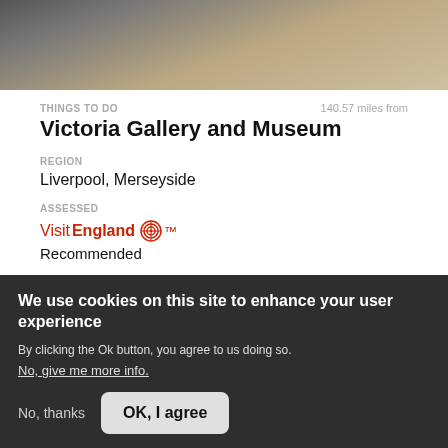[Figure (photo): Partial top image of what appears to be a sandy/outdoor scene, cropped]
THINGS TO DO
140.57 miles from
Victoria Gallery and Museum
REGION
Liverpool, Merseyside
ASSESSED
VisitEngland® Recommended
Find out more >
We use cookies on this site to enhance your user experience
By clicking the Ok button, you agree to us doing so.
No, give me more info.
No, thanks
OK, I agree